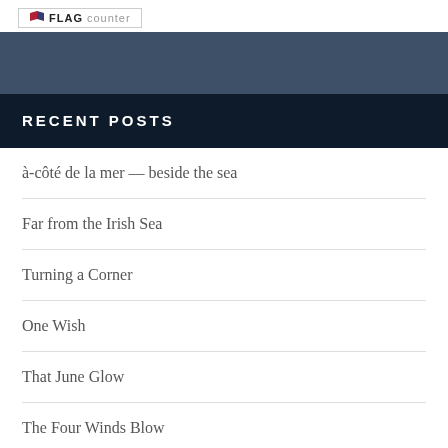[Figure (logo): Flag Counter widget logo with flag icon and text FLAG counter]
RECENT POSTS
à-côté de la mer — beside the sea
Far from the Irish Sea
Turning a Corner
One Wish
That June Glow
The Four Winds Blow
Together